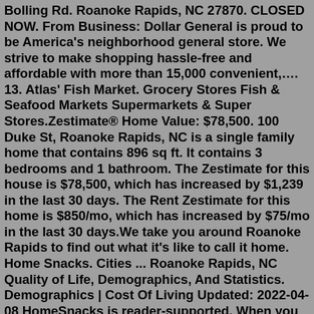Bolling Rd. Roanoke Rapids, NC 27870. CLOSED NOW. From Business: Dollar General is proud to be America's neighborhood general store. We strive to make shopping hassle-free and affordable with more than 15,000 convenient,…. 13. Atlas' Fish Market. Grocery Stores Fish & Seafood Markets Supermarkets & Super Stores.Zestimate® Home Value: $78,500. 100 Duke St, Roanoke Rapids, NC is a single family home that contains 896 sq ft. It contains 3 bedrooms and 1 bathroom. The Zestimate for this house is $78,500, which has increased by $1,239 in the last 30 days. The Rent Zestimate for this home is $850/mo, which has increased by $75/mo in the last 30 days.We take you around Roanoke Rapids to find out what it's like to call it home. Home Snacks. Cities ... Roanoke Rapids, NC Quality of Life, Demographics, And Statistics. Demographics | Cost Of Living Updated: 2022-04-08 HomeSnacks is reader-supported. When you click through real estate links on our site, we earn an affiliate commission.Current Weather Conditions in New Hanover County, NC For